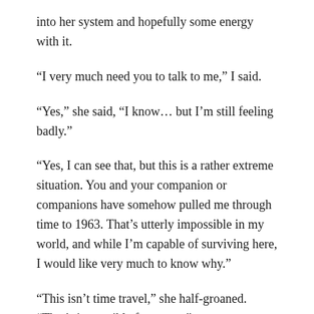into her system and hopefully some energy with it.
“I very much need you to talk to me,” I said.
“Yes,” she said, “I know… but I’m still feeling badly.”
“Yes, I can see that, but this is a rather extreme situation. You and your companion or companions have somehow pulled me through time to 1963. That’s utterly impossible in my world, and while I’m capable of surviving here, I would like very much to know why.”
“This isn’t time travel,” she half-groaned. “That’s impossible for us too.”
“Then this is mere illusion?”